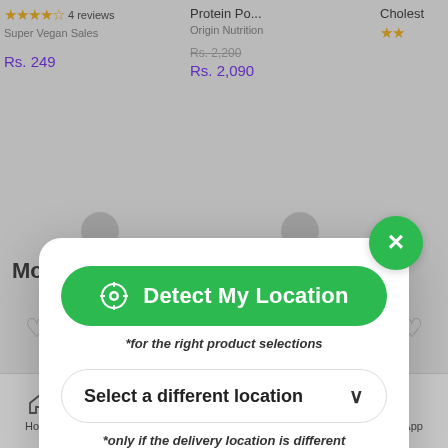[Figure (screenshot): Background of a vegan/health products e-commerce app showing product cards with star ratings, prices in Rs., and bottom navigation bar]
[Figure (screenshot): Modal dialog popup with green 'Detect My Location' button, location detection hint text, 'Select a different location' dropdown, and delivery hint. Green circular X close button in top-right corner.]
4 reviews
Super Vegan Sales
Rs. 249
Protein Po...
Origin Nutrition
Rs. 2,200
Rs. 2,090
More f
Detect My Location
*for the right product selections
Select a different location
*only if the delivery location is different
Home
Categories
Cart
Wishlist
WhatsApp